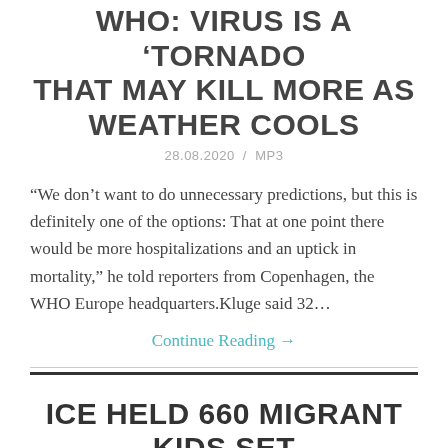WHO: VIRUS IS A 'TORNADO THAT MAY KILL MORE AS WEATHER COOLS
28.08.2020  /  MP3
“We don’t want to do unnecessary predictions, but this is definitely one of the options: That at one point there would be more hospitalizations and an uptick in mortality,” he told reporters from Copenhagen, the WHO Europe headquarters.Kluge said 32…
Continue Reading →
ICE HELD 660 MIGRANT KIDS SET FOR EXPULSION IN HOTELS, COURT MONITOR SAYS